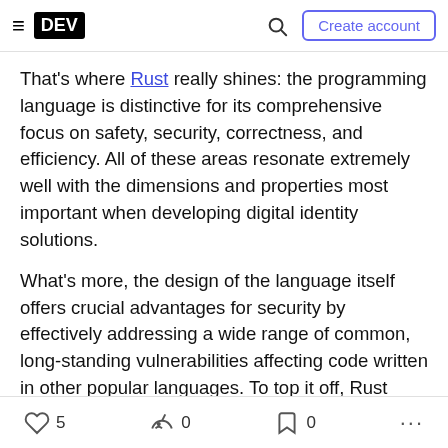DEV — Create account
That's where Rust really shines: the programming language is distinctive for its comprehensive focus on safety, security, correctness, and efficiency. All of these areas resonate extremely well with the dimensions and properties most important when developing digital identity solutions.
What's more, the design of the language itself offers crucial advantages for security by effectively addressing a wide range of common, long-standing vulnerabilities affecting code written in other popular languages. To top it off, Rust provides markedly high
♡ 5   0   0   ...